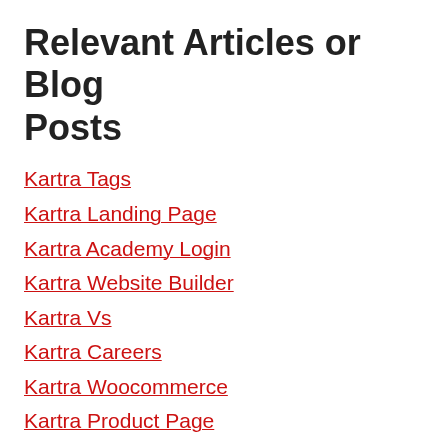Relevant Articles or Blog Posts
Kartra Tags
Kartra Landing Page
Kartra Academy Login
Kartra Website Builder
Kartra Vs
Kartra Careers
Kartra Woocommerce
Kartra Product Page
Kartra Forex En Pijama
Is Kartra A Crm
Kartra Google Tag Manager